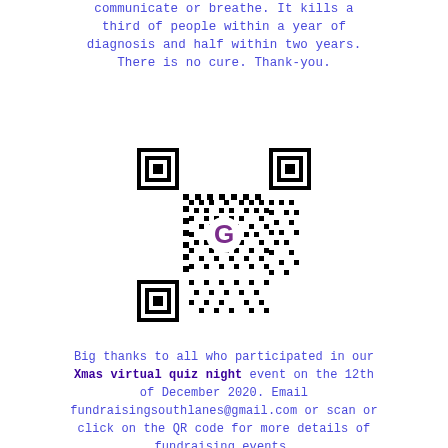communicate or breathe. It kills a third of people within a year of diagnosis and half within two years. There is no cure. Thank-you.
[Figure (other): QR code with a Google 'G' logo in the center, linking to fundraising event details]
Big thanks to all who participated in our Xmas virtual quiz night event on the 12th of December 2020. Email fundraisingsouthlanes@gmail.com or scan or click on the QR code for more details of fundraising events.